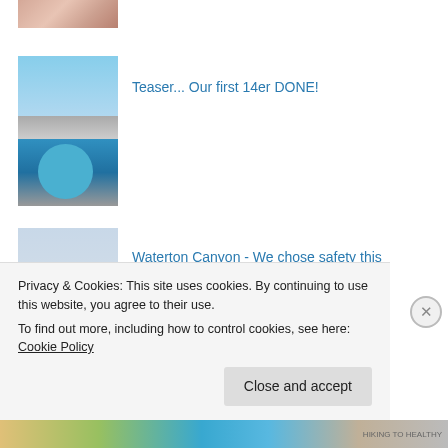[Figure (photo): Partial thumbnail at top of page, cropped image showing flesh tones]
[Figure (photo): Person in blue jacket on mountain top, wearing sunglasses]
Teaser... Our first 14er DONE!
[Figure (photo): Waterton Canyon trail with hills and cloudy sky]
Waterton Canyon - We chose safety this weekend- Hiked 9/14/13
[Figure (photo): Mountain summit with blue sky and clouds]
Hiking To Healthy in 2014
Privacy & Cookies: This site uses cookies. By continuing to use this website, you agree to their use.
To find out more, including how to control cookies, see here: Cookie Policy
Close and accept